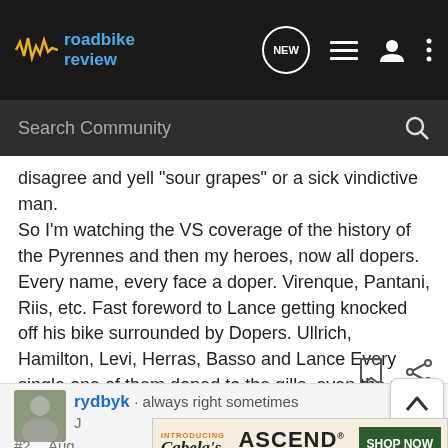roadbike review — Search Community
disagree and yell "sour grapes" or a sick vindictive man. So I'm watching the VS coverage of the history of the Pyrennes and then my heroes, now all dopers. Every name, every face a doper. Virenque, Pantani, Riis, etc. Fast foreword to Lance getting knocked off his bike surrounded by Dopers. Ullrich, Hamilton, Levi, Herras, Basso and Lance Every single one of them doped to the gills, even the near rotten guy down your and my block.
rydbyk · always right sometimes
[Figure (screenshot): Cabela's Ascend Adventure Bikes advertisement banner with 'SHOP NOW' button]